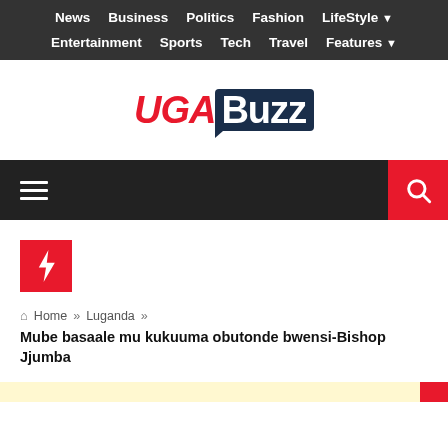News  Business  Politics  Fashion  LifeStyle  Entertainment  Sports  Tech  Travel  Features
[Figure (logo): UGABuzz logo — UGA in red italic, Buzz in white on dark navy background with speech bubble tail]
Hamburger menu icon and search icon toolbar
[Figure (other): Red square with white lightning bolt icon]
Home » Luganda » Mube basaale mu kukuuma obutonde bwensi-Bishop Jjumba